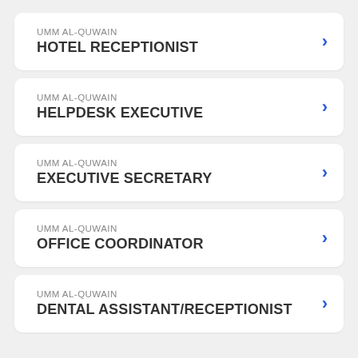UMM AL-QUWAIN
HOTEL RECEPTIONIST
UMM AL-QUWAIN
HELPDESK EXECUTIVE
UMM AL-QUWAIN
EXECUTIVE SECRETARY
UMM AL-QUWAIN
OFFICE COORDINATOR
UMM AL-QUWAIN
DENTAL ASSISTANT/RECEPTIONIST